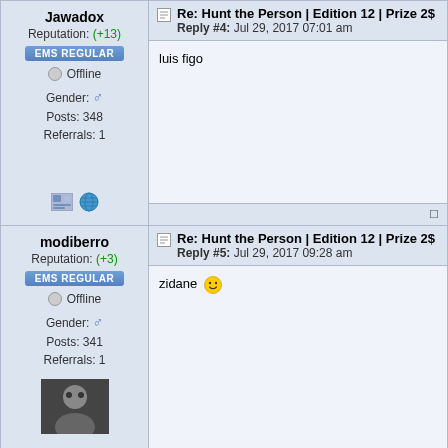Jawadox
Reputation: (+13)
EMS REGULAR
Offline
Gender: ♂ Posts: 348 Referrals: 1
Re: Hunt the Person | Edition 12 | Prize 2$ Reply #4: Jul 29, 2017 07:01 am
luis figo
modiberro
Reputation: (+3)
EMS REGULAR
Offline
Gender: ♂ Posts: 341 Referrals: 1
Re: Hunt the Person | Edition 12 | Prize 2$ Reply #5: Jul 29, 2017 09:28 am
zidane 🙂